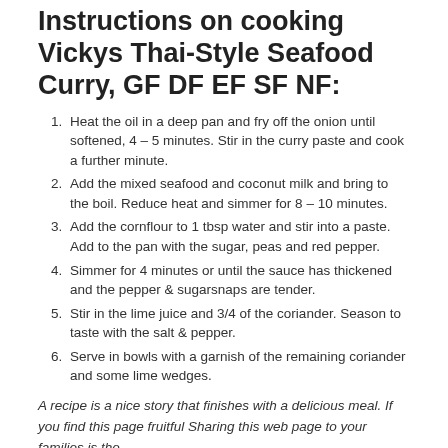Instructions on cooking Vickys Thai-Style Seafood Curry, GF DF EF SF NF:
Heat the oil in a deep pan and fry off the onion until softened, 4 – 5 minutes. Stir in the curry paste and cook a further minute.
Add the mixed seafood and coconut milk and bring to the boil. Reduce heat and simmer for 8 – 10 minutes.
Add the cornflour to 1 tbsp water and stir into a paste. Add to the pan with the sugar, peas and red pepper.
Simmer for 4 minutes or until the sauce has thickened and the pepper & sugarsnaps are tender.
Stir in the lime juice and 3/4 of the coriander. Season to taste with the salt & pepper.
Serve in bowls with a garnish of the remaining coriander and some lime wedges.
A recipe is a nice story that finishes with a delicious meal. If you find this page fruitful Sharing this web page to your families is the